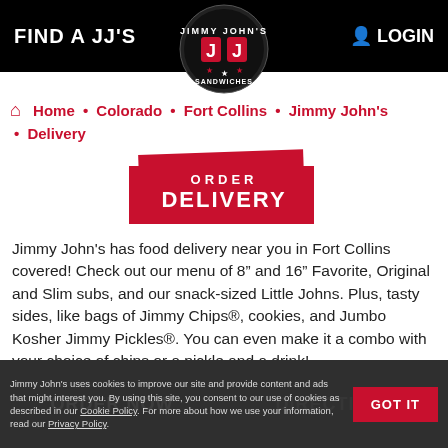FIND A JJ'S    LOGIN
Home • Colorado • Fort Collins • Jimmy John's • Delivery
[Figure (other): Jimmy John's Sandwiches circular logo with JJ letters in red on black background]
[Figure (other): ORDER DELIVERY red button]
Jimmy John's has food delivery near you in Fort Collins covered! Check out our menu of 8" and 16" Favorite, Original and Slim subs, and our snack-sized Little Johns. Plus, tasty sides, like bags of Jimmy Chips®, cookies, and Jumbo Kosher Jimmy Pickles®. You can even make it a combo with your choice of chips or a pickle and a drink!
At Jimmy John's, we deliver* sub sandwiches within 5 minutes** of our shops to make sure your food delivery
ORDER NOW    DIRECTIONS
Jimmy John's uses cookies to improve our site and provide content and ads that might interest you. By using this site, you consent to our use of cookies as described in our Cookie Policy. For more about how we use your information, read our Privacy Policy.    GOT IT